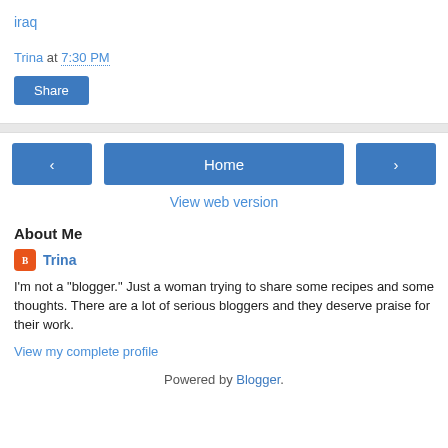iraq
Trina at 7:30 PM
Share
Home
View web version
About Me
Trina
I'm not a "blogger." Just a woman trying to share some recipes and some thoughts. There are a lot of serious bloggers and they deserve praise for their work.
View my complete profile
Powered by Blogger.